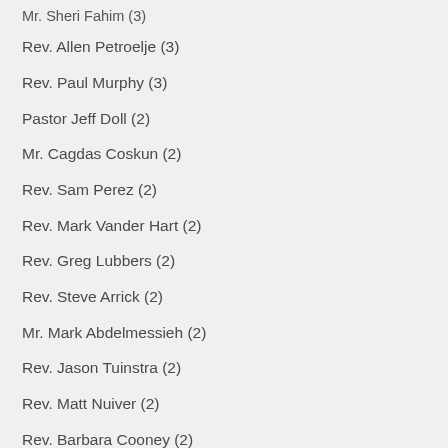Mr. Sheri Fahim (3)
Rev. Allen Petroelje (3)
Rev. Paul Murphy (3)
Pastor Jeff Doll (2)
Mr. Cagdas Coskun (2)
Rev. Sam Perez (2)
Rev. Mark Vander Hart (2)
Rev. Greg Lubbers (2)
Rev. Steve Arrick (2)
Mr. Mark Abdelmessieh (2)
Rev. Jason Tuinstra (2)
Rev. Matt Nuiver (2)
Rev. Barbara Cooney (2)